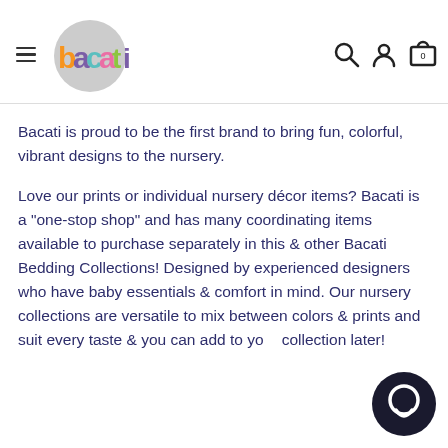bacati — navigation header with hamburger menu, logo, search, account, and cart icons
Bacati is proud to be the first brand to bring fun, colorful, vibrant designs to the nursery.
Love our prints or individual nursery décor items? Bacati is a "one-stop shop" and has many coordinating items available to purchase separately in this & other Bacati Bedding Collections! Designed by experienced designers who have baby essentials & comfort in mind. Our nursery collections are versatile to mix between colors & prints and suit every taste & you can add to your collection later!